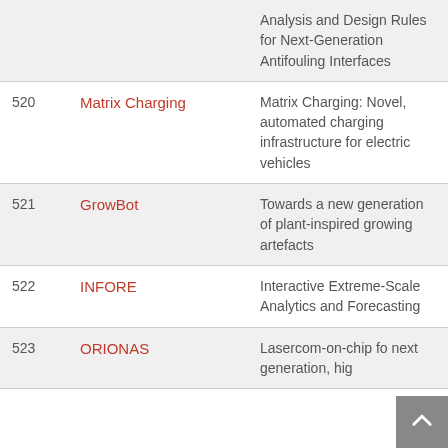| # | Name | Title |
| --- | --- | --- |
|  |  | Analysis and Design Rules for Next-Generation Antifouling Interfaces |
| 520 | Matrix Charging | Matrix Charging: Novel, automated charging infrastructure for electric vehicles |
| 521 | GrowBot | Towards a new generation of plant-inspired growing artefacts |
| 522 | INFORE | Interactive Extreme-Scale Analytics and Forecasting |
| 523 | ORIONAS | Lasercom-on-chip for next generation, hig... |